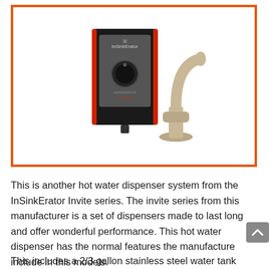[Figure (photo): InSinkErator hot water dispenser unit (black box with dial and red trim) next to a brushed nickel faucet, displayed inside an orange-bordered box]
This is another hot water dispenser system from the InSinkErator Invite series. The invite series from this manufacturer is a set of dispensers made to last long and offer wonderful performance. This hot water dispenser has the normal features the manufacture include in this models.
This includes a 2/3 gallon stainless steel water tank